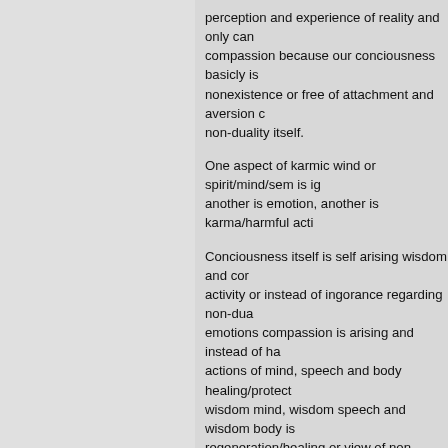perception and experience of reality and only can compassion because our conciousness basicly is nonexistence or free of attachment and aversion c non-duality itself.
One aspect of karmic wind or spirit/mind/sem is ig another is emotion, another is karma/harmful acti
Conciousness itself is self arising wisdom and cor activity or instead of ingorance regarding non-dua emotions compassion is arising and instead of ha actions of mind, speech and body healing/protect wisdom mind, wisdom speech and wisdom body is regeneration/healing or view of non-duality/being or compassion that comes with wisdom and actio happening because of ones self arising wisdom a self arising spacecontinuum that is unborn and ur
One aspect of karmic wind is being hostile against compassion. As long there is karmic wind there is (mind/sem/spirit) with wisdom and compassion.
Our aspiration can and should be like: "No matter become hostile against wisdom and compassion."
Wrathful aspect of wisdom and compassion is like